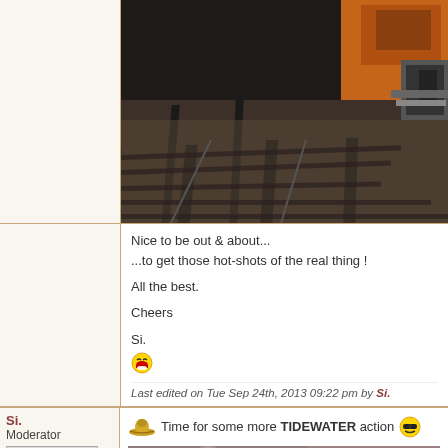[Figure (photo): A photograph of railway tracks with an orange locomotive/machine visible at the top right, taken from a low angle showing the rails and gravel ballast.]
Nice to be out & about...
...to get those hot-shots of the real thing !

All the best.

Cheers

Si.
Last edited on Tue Sep 24th, 2013 09:22 pm by Si.
Si.
Moderator
Time for some more TIDEWATER action
[Figure (photo): A partially visible photograph showing blurred figures in front of a brick building.]